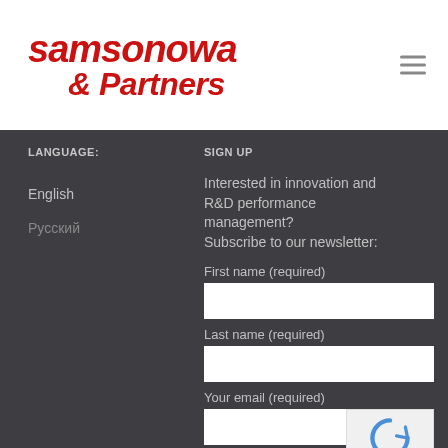[Figure (logo): Samsonowa & Partners logo in red italic bold text]
LANGUAGE:
SIGN UP
English
Русский
Interested in innovation and R&D performance management? Subscribe to our newsletter:
First name (required)
Last name (required)
Your email (required)
Comment